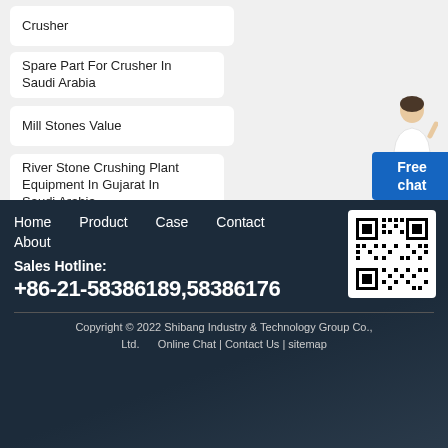Crusher
Spare Part For Crusher In Saudi Arabia
Mill Stones Value
River Stone Crushing Plant Equipment In Gujarat In Saudi Arabia
Lime Kiln Processing Plant
[Figure (illustration): Customer service representative person icon with blue Free chat button widget]
Home   Product   Case   Contact   About
[Figure (other): QR code for Shibang Industry & Technology Group website]
Sales Hotline:
+86-21-58386189,58386176
Copyright © 2022 Shibang Industry & Technology Group Co., Ltd. Online Chat | Contact Us | sitemap